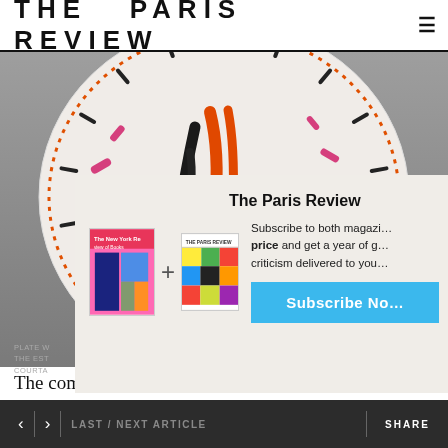THE PARIS REVIEW
[Figure (photo): A decorative ceramic plate with colorful painted design — orange, magenta/pink, and black brushstrokes on white background with dotted border detail, photographed against a gray background.]
PLATE W... / THE ES... / COURT...
The Paris Review
Subscribe to both magazines at one price and get a year of great criticism delivered to you.
Subscribe Now
The company survived the war, but only just. In June
< > LAST / NEXT ARTICLE    SHARE